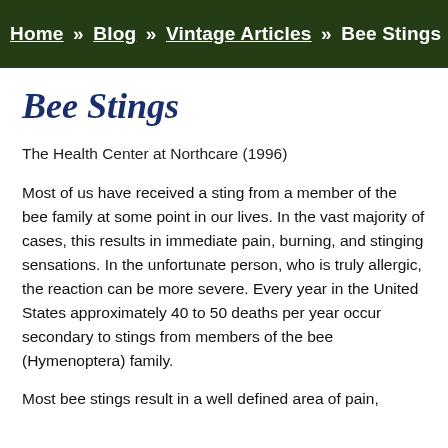Home » Blog » Vintage Articles » Bee Stings
Bee Stings
The Health Center at Northcare (1996)
Most of us have received a sting from a member of the bee family at some point in our lives. In the vast majority of cases, this results in immediate pain, burning, and stinging sensations. In the unfortunate person, who is truly allergic, the reaction can be more severe. Every year in the United States approximately 40 to 50 deaths per year occur secondary to stings from members of the bee (Hymenoptera) family.
Most bee stings result in a well defined area of pain,